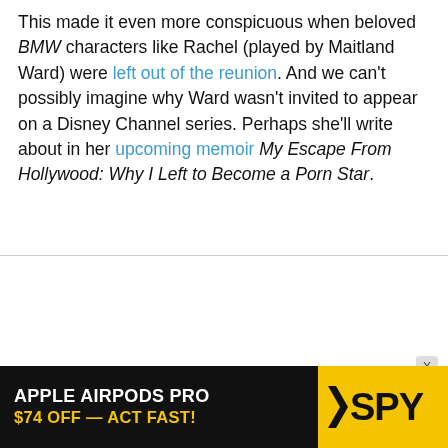This made it even more conspicuous when beloved BMW characters like Rachel (played by Maitland Ward) were left out of the reunion. And we can't possibly imagine why Ward wasn't invited to appear on a Disney Channel series. Perhaps she'll write about in her upcoming memoir My Escape From Hollywood: Why I Left to Become a Porn Star.
[Figure (other): Advertisement banner for Apple AirPods Pro: '$74 OFF — ACT FAST!' with SPY logo on yellow background]